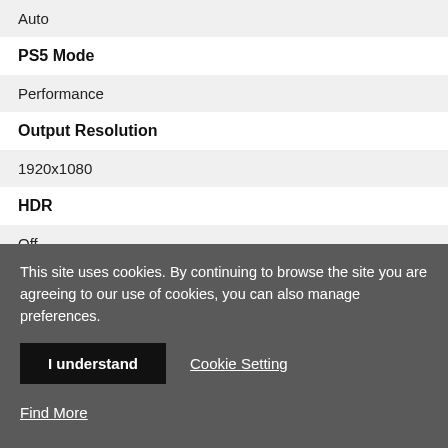Auto
PS5 Mode
Performance
Output Resolution
1920x1080
HDR
Off
Refresh Rate
This site uses cookies. By continuing to browse the site you are agreeing to our use of cookies, you can also manage preferences.
I understand
Cookie Setting
Find More